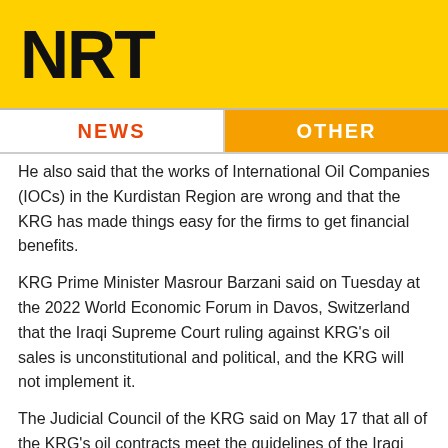[Figure (logo): NRT news logo in bold black text on yellow background]
NEWS | OTHER
He also said that the works of International Oil Companies (IOCs) in the Kurdistan Region are wrong and that the KRG has made things easy for the firms to get financial benefits.
KRG Prime Minister Masrour Barzani said on Tuesday at the 2022 World Economic Forum in Davos, Switzerland that the Iraqi Supreme Court ruling against KRG's oil sales is unconstitutional and political, and the KRG will not implement it.
The Judicial Council of the KRG said on May 17 that all of the KRG's oil contracts meet the guidelines of the Iraqi constitution enacted in 2005.
(NRT Digital Media)